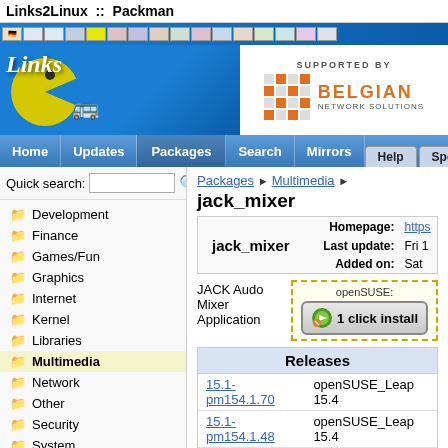Links2Linux :: Packman
[Figure (screenshot): Navigation bar with flag icons, Links2Linux Packman logo with Pac-Man, and Belgian Network Solutions sponsor area]
[Figure (screenshot): Navigation menu: Home, Updates, Packages (active), Search, Mirrors, Help tab, Sponsors tab]
Quick search:
Development
Finance
Games/Fun
Graphics
Internet
Kernel
Libraries
Multimedia
Network
Other
Security
System
Packages ▶ Multimedia ▶ jack_mixer
|  | Homepage: | https://... | Last update: | Fri 1... | Added on: | Sat... |
| --- | --- | --- | --- | --- | --- | --- |
| jack_mixer |  |  |
JACK Audo Mixer Application
openSUSE:
1 click install
| Releases |  |
| --- | --- |
| 15.1-pm154.1.70 | openSUSE_Leap 15.4 |
| 15.1-pm154.1.48 | openSUSE_Leap 15.4 |
| 15.1-pm153.1.116 | openSUSE_Leap 15.3 |
| 15.1-pm153.1.56 | openSUSE_Leap 15.3 |